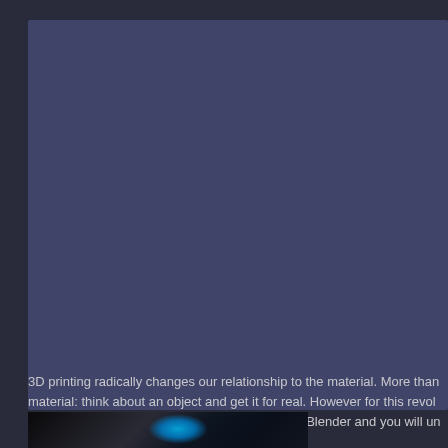[Figure (photo): Large blue-grey panel area, likely a screenshot or application interface with a dark blue-purple background color filling most of the upper portion of the page.]
3D printing radically changes our relationship to the material. More than think about an object and get it for real. However for this revolution to reach real consumers. Try to open Solidworks or even Blender and you will un
[Figure (photo): Photograph of a 3D printer with blue/cyan colored filament or lighting visible, dark background, mechanical components visible.]